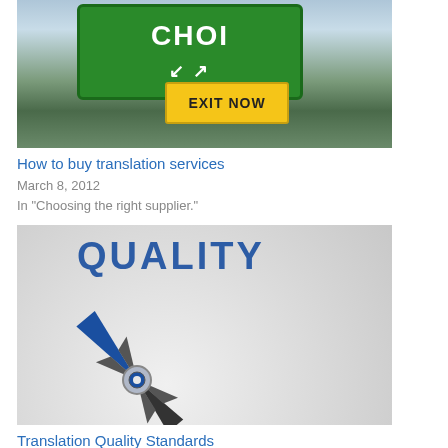[Figure (photo): Road signs showing a green highway sign with 'Choice' text and arrow, and a yellow sign reading 'EXIT NOW', mounted on metal scaffolding against a cloudy sky with trees below.]
How to buy translation services
March 8, 2012
In "Choosing the right supplier."
[Figure (photo): Close-up of a compass with a blue arrow needle pointing toward the word 'QUALITY' written in large blue letters on a light grey background with dotted circle markings.]
Translation Quality Standards